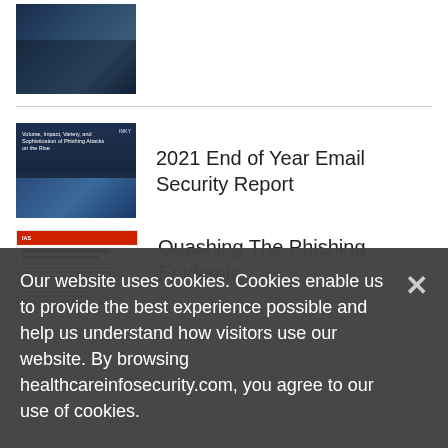[Figure (photo): Thumbnail image of hands using a laptop and smartphone on a dark background]
[Figure (photo): Book cover thumbnail: Volume, Impact, Variety, and Sophistication of Phishing Attacks on the Rise - INKY]
2021 End of Year Email Security Report
[Figure (screenshot): Document thumbnail showing Quashing the Phishing Epidemic report with red header]
Quashing The Phishing Epidemic
Our website uses cookies. Cookies enable us to provide the best experience possible and help us understand how visitors use our website. By browsing healthcareinfosecurity.com, you agree to our use of cookies.